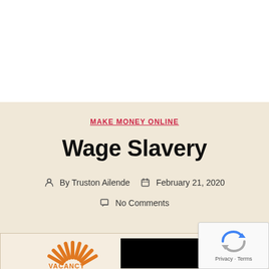MAKE MONEY ONLINE
Wage Slavery
By Truston Ailende   February 21, 2020   No Comments
[Figure (illustration): Partial view of a featured image showing orange sun rays and a black rectangle, with VACANCY text partially visible at bottom. Also a reCAPTCHA Privacy - Terms badge overlay in the bottom right.]